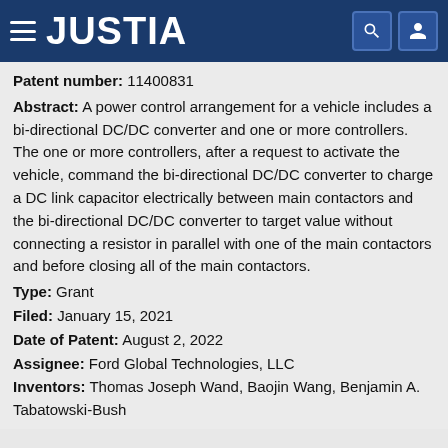JUSTIA
Patent number: 11400831
Abstract: A power control arrangement for a vehicle includes a bi-directional DC/DC converter and one or more controllers. The one or more controllers, after a request to activate the vehicle, command the bi-directional DC/DC converter to charge a DC link capacitor electrically between main contactors and the bi-directional DC/DC converter to target value without connecting a resistor in parallel with one of the main contactors and before closing all of the main contactors.
Type: Grant
Filed: January 15, 2021
Date of Patent: August 2, 2022
Assignee: Ford Global Technologies, LLC
Inventors: Thomas Joseph Wand, Baojin Wang, Benjamin A. Tabatowski-Bush